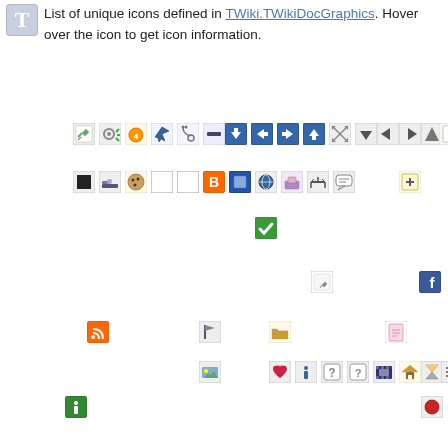List of unique icons defined in TWiki.TWikiDocGraphics. Hover over the icon to get icon information.
[Figure (infographic): Grid of various TWiki doc graphic icons scattered across the page in approximate rows]